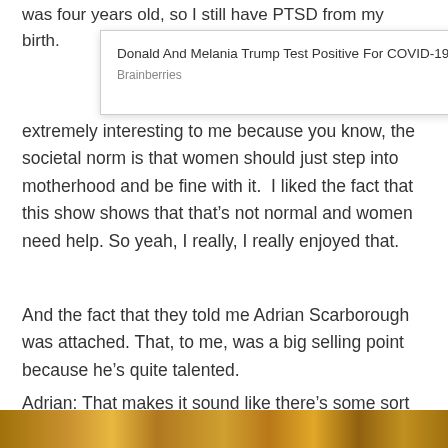was four years old, so I still have PTSD from my birth.
[Figure (other): Advertisement overlay popup: 'Donald And Melania Trump Test Positive For COVID-19' from Brainberries, with PurpleAds branding and close button]
The fact that they told me Adrian Scarborough was attached. That, to me, was a big selling point because he’s quite talented. extremely interesting to me because you know, the societal norm is that women should just step into motherhood and be fine with it.  I liked the fact that this show shows that that’s not normal and women need help. So yeah, I really, I really enjoyed that.
And the fact that they told me Adrian Scarborough was attached. That, to me, was a big selling point because he’s quite talented.
Adrian: That makes it sound like there’s some sort of umbilical cord.
[Figure (photo): Partial photo visible at the bottom of the page]